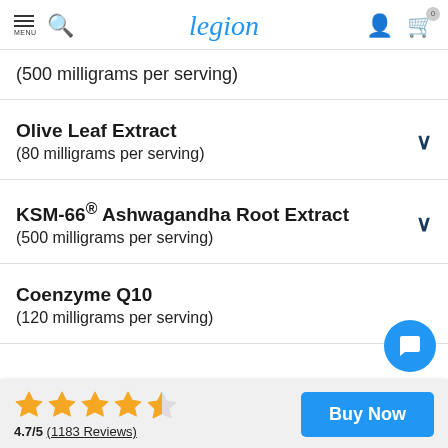legion
(500 milligrams per serving)
Olive Leaf Extract
(80 milligrams per serving)
KSM-66® Ashwagandha Root Extract
(500 milligrams per serving)
Coenzyme Q10
(120 milligrams per serving)
4.7/5 (1183 Reviews) Buy Now